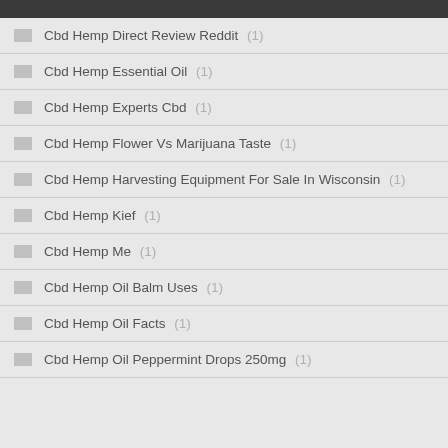Cbd Hemp Direct Review Reddit (1)
Cbd Hemp Essential Oil (1)
Cbd Hemp Experts Cbd (1)
Cbd Hemp Flower Vs Marijuana Taste (1)
Cbd Hemp Harvesting Equipment For Sale In Wisconsin (1)
Cbd Hemp Kief (1)
Cbd Hemp Me (1)
Cbd Hemp Oil Balm Uses (1)
Cbd Hemp Oil Facts (1)
Cbd Hemp Oil Peppermint Drops 250mg (1)